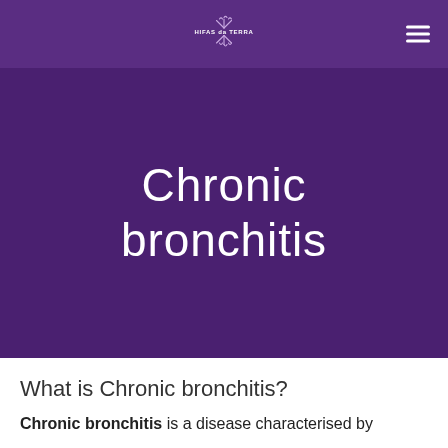HIFAS da TERRA
Chronic bronchitis
What is Chronic bronchitis?
Chronic bronchitis is a disease characterised by